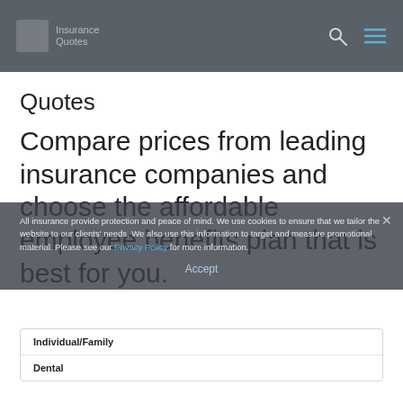Insurance quotes website header with logo, search icon, and menu icon
Quotes
Compare prices from leading insurance companies and choose the affordable employee benefits plan that is best for you.
All insurance provide protection and peace of mind. We use cookies to ensure that we tailor the website to our clients' needs. We also use this information to target and measure promotional material. Please see our Privacy Policy for more information.
| Individual/Family |  |
| Dental |  |